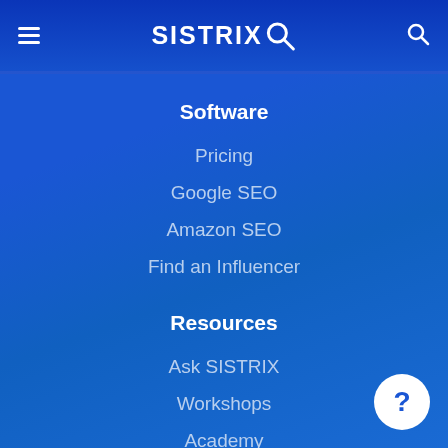SISTRIX
Software
Pricing
Google SEO
Amazon SEO
Find an Influencer
Resources
Ask SISTRIX
Workshops
Academy
SEO Blog